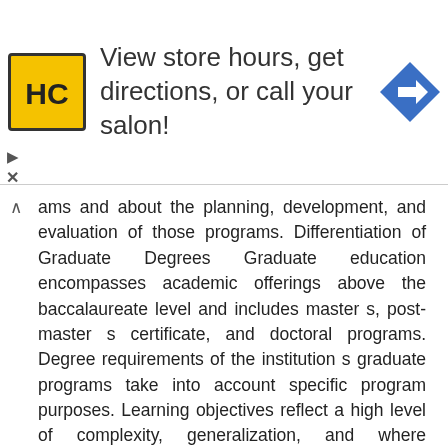[Figure (other): Advertisement banner for a hair care salon showing HC logo, text 'View store hours, get directions, or call your salon!' and a navigation arrow icon]
ams and about the planning, development, and evaluation of those programs. Differentiation of Graduate Degrees Graduate education encompasses academic offerings above the baccalaureate level and includes master s, post-master s certificate, and doctoral programs. Degree requirements of the institution s graduate programs take into account specific program purposes. Learning objectives reflect a high level of complexity, generalization, and where appropriate, specialization. Master s degrees, post-master s certificates, and doctoral degrees may be research-oriented or professional or practice-oriented. An institution s graduate programs require scholarly and professional activities designed to advance the student substantially beyond the educational accomplishments of a baccalaureate degree program. Graduate programs, which encompass both research activities and professional practice, define their relative emphasis in program